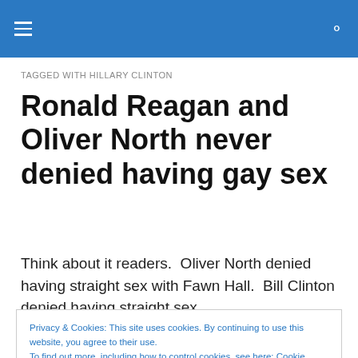≡  🔍
TAGGED WITH HILLARY CLINTON
Ronald Reagan and Oliver North never denied having gay sex
Think about it readers.  Oliver North denied having straight sex with Fawn Hall.  Bill Clinton denied having straight sex
Privacy & Cookies: This site uses cookies. By continuing to use this website, you agree to their use.
To find out more, including how to control cookies, see here: Cookie Policy
Close and accept
Reagan on Iran – Contra arms for hostages